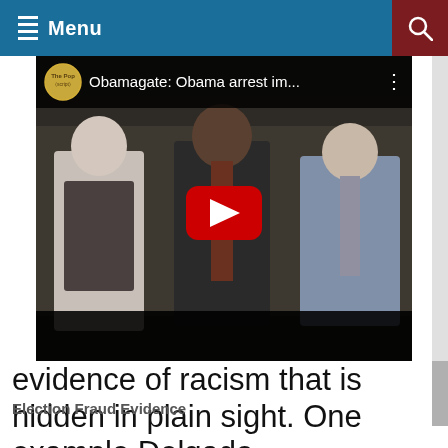Menu
[Figure (screenshot): YouTube video thumbnail showing three men in suits walking, with the video title 'Obamagate: Obama arrest im...' and a YouTube channel avatar on the left. A red YouTube play button is centered on the video.]
evidence of racism that is hidden in plain sight. One example Delgado
Election Fraud Evidence